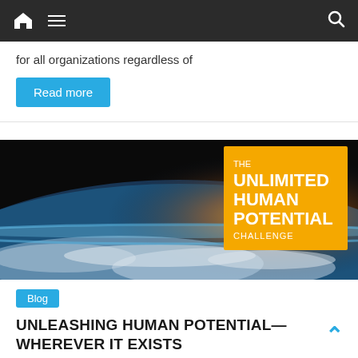Navigation bar with home, menu, and search icons
for all organizations regardless of
Read more
[Figure (photo): Banner image showing Earth from space with a golden/yellow overlay box reading 'THE UNLIMITED HUMAN POTENTIAL CHALLENGE']
Blog
UNLEASHING HUMAN POTENTIAL—WHEREVER IT EXISTS
When it comes to building management and business models that are fit for the 21st century, one of the